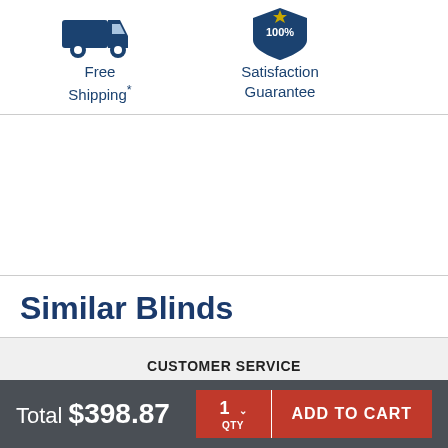[Figure (illustration): Dark blue delivery truck icon with wheels]
Free Shipping*
[Figure (illustration): Dark blue shield/badge with 100% text icon]
Satisfaction Guarantee
Similar Blinds
CUSTOMER SERVICE
ABOUT US
Total $398.87
1 QTY
ADD TO CART